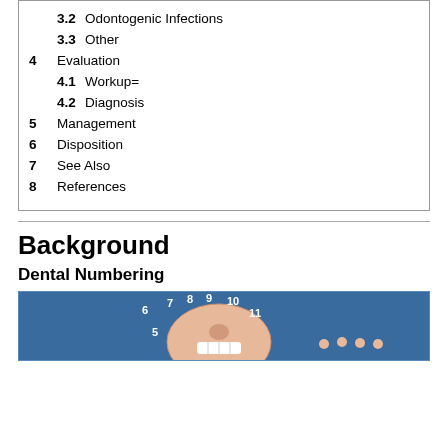3.2  Odontogenic Infections
3.3  Other
4  Evaluation
4.1  Workup=
4.2  Diagnosis
5  Management
6  Disposition
7  See Also
8  References
Background
Dental Numbering
[Figure (illustration): Dental numbering diagram showing a stylized illustration of teeth with numbers 5, 6, 7, 8, 9, 10, 11 labeled, on a blue background]